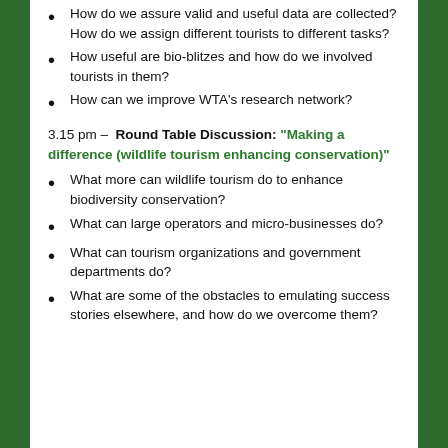How do we assure valid and useful data are collected? How do we assign different tourists to different tasks?
How useful are bio-blitzes and how do we involved tourists in them?
How can we improve WTA's research network?
3.15 pm – Round Table Discussion: "Making a difference (wildlife tourism enhancing conservation)"
What more can wildlife tourism do to enhance biodiversity conservation?
What can large operators and micro-businesses do?
What can tourism organizations and government departments do?
What are some of the obstacles to emulating success stories elsewhere, and how do we overcome them?